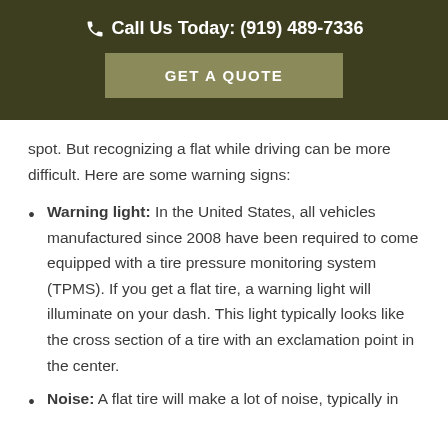Call Us Today: (919) 489-7336
GET A QUOTE
spot. But recognizing a flat while driving can be more difficult. Here are some warning signs:
Warning light: In the United States, all vehicles manufactured since 2008 have been required to come equipped with a tire pressure monitoring system (TPMS). If you get a flat tire, a warning light will illuminate on your dash. This light typically looks like the cross section of a tire with an exclamation point in the center.
Noise: A flat tire will make a lot of noise, typically in